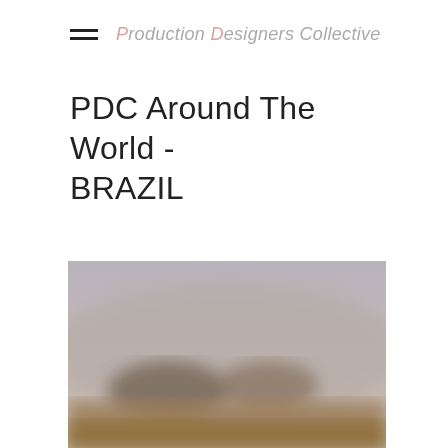Production Designers Collective
PDC Around The World - BRAZIL
[Figure (photo): A blurred outdoor landscape photo, possibly showing a hazy sky and ground with warm brownish tones in the lower portion, suggesting a Brazilian landscape scene.]